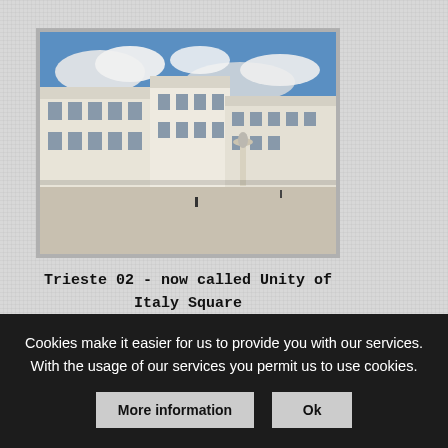[Figure (photo): Photograph of Trieste's Unity of Italy Square (Piazza Unità d'Italia) showing a large open piazza with historic white buildings, a tall column monument, and blue sky with clouds]
Trieste 02 - now called Unity of Italy Square
[Figure (photo): Partially visible photograph at the bottom of the page showing what appears to be a historic building or waterfront in Trieste]
Cookies make it easier for us to provide you with our services. With the usage of our services you permit us to use cookies.